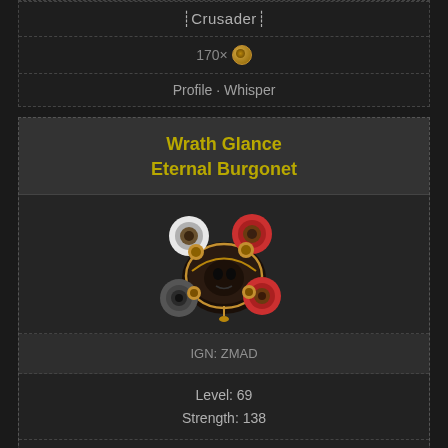Crusader
170×  [coin icon]
Profile · Whisper
Wrath Glance Eternal Burgonet
[Figure (illustration): Fantasy game helmet item icon — a dark ornate horned helmet with red and gold circular decorations, white and dark ring-shaped horns]
IGN: ZMAD
Level: 69
Strength: 138
Quality: 28%
Armour: 477